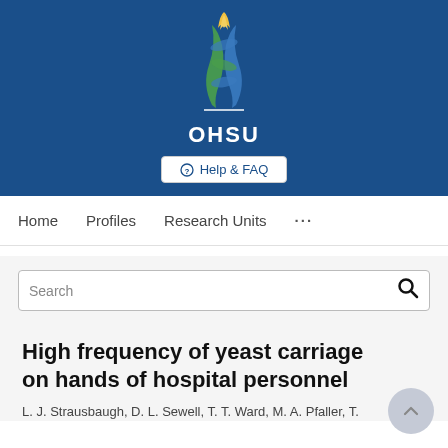[Figure (logo): OHSU (Oregon Health & Science University) logo with DNA helix and flame graphic in blue, green, and gold on a dark blue background, with white OHSU wordmark below]
Help & FAQ
Home   Profiles   Research Units   ...
Search
High frequency of yeast carriage on hands of hospital personnel
L. J. Strausbaugh, D. L. Sewell, T. T. Ward, M. A. Pfaller, T.